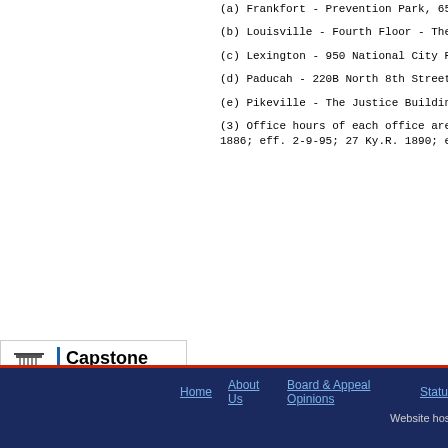(a) Frankfort - Prevention Park, 657 To Be Announced Av
(b) Louisville - Fourth Floor - The Meyer Building 624 We
(c) Lexington - 950 National City Plaza, Lexington, Kentu
(d) Paducah - 220B North 8th Street, Paducah, Kentucky
(e) Pikeville - The Justice Building, 3rd Floor, 314-316 Se
(3) Office hours of each office are 9 a.m. to 4 p.m., Mo 1886; eff. 2-9-95; 27 Ky.R. 1890; eff. 3-19-2001.)
[Figure (logo): Capstone Financial advertisement with column logo, blue divider bar, and tagline 'Get paid in 24 to 48 hours!']
[Figure (logo): The Cyber Werks logo on black background]
Home  About Us  Board & Appeal Opinions  Statu  Website hosted by The Cyb